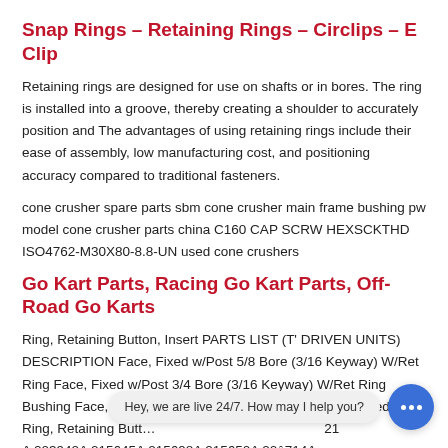Snap Rings – Retaining Rings – Circlips – E Clip
Retaining rings are designed for use on shafts or in bores. The ring is installed into a groove, thereby creating a shoulder to accurately position and The advantages of using retaining rings include their ease of assembly, low manufacturing cost, and positioning accuracy compared to traditional fasteners.
cone crusher spare parts sbm cone crusher main frame bushing pw model cone crusher parts china C160 CAP SCRW HEXSCKTHD ISO4762-M30X80-8.8-UN used cone crushers
Go Kart Parts, Racing Go Kart Parts, Off-Road Go Karts
Ring, Retaining Button, Insert PARTS LIST (T' DRIVEN UNITS) DESCRIPTION Face, Fixed w/Post 5/8 Bore (3/16 Keyway) W/Ret Ring Face, Fixed w/Post 3/4 Bore (3/16 Keyway) W/Ret Ring Bushing Face, Movable w/Cam Spring, Coil, Blue Cam, Fixed 2C Ring, Retaining Butt... ...21 A 203942A 215645A 215698A 215650A 20â714A
Hey, we are live 24/7. How may I help you?